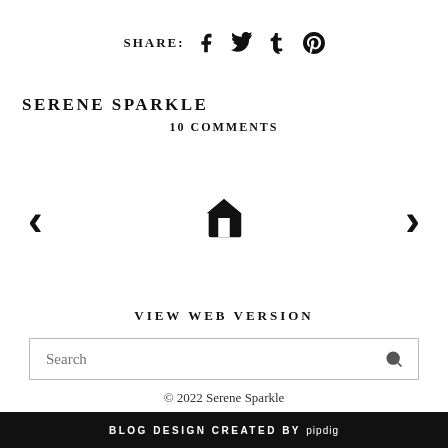SHARE: [facebook] [twitter] [tumblr] [pinterest]
SERENE SPARKLE
10 COMMENTS
[Figure (other): Navigation row with left arrow, home icon, and right arrow for blog post navigation]
VIEW WEB VERSION
Search
© 2022 Serene Sparkle
BLOG DESIGN CREATED BY pipdig